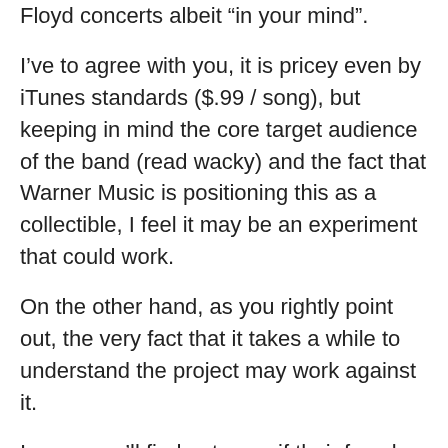Floyd concerts albeit “in your mind”.
I’ve to agree with you, it is pricey even by iTunes standards ($.99 / song), but keeping in mind the core target audience of the band (read wacky) and the fact that Warner Music is positioning this as a collectible, I feel it may be an experiment that could work.
On the other hand, as you rightly point out, the very fact that it takes a while to understand the project may work against it.
I guess we’ll find out soon if their fans buy the concept…
-Mario
★ Like